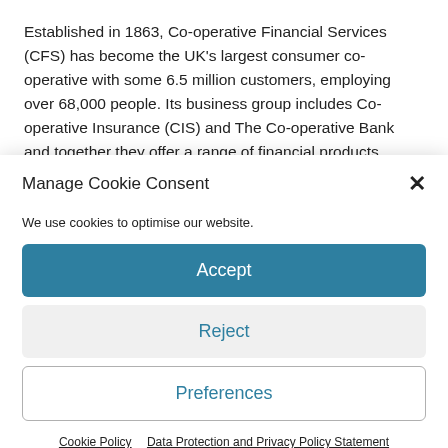Established in 1863, Co-operative Financial Services (CFS) has become the UK's largest consumer co-operative with some 6.5 million customers, employing over 68,000 people. Its business group includes Co-operative Insurance (CIS) and The Co-operative Bank and together they offer a range of financial products.
Manage Cookie Consent
We use cookies to optimise our website.
Accept
Reject
Preferences
Cookie Policy   Data Protection and Privacy Policy Statement